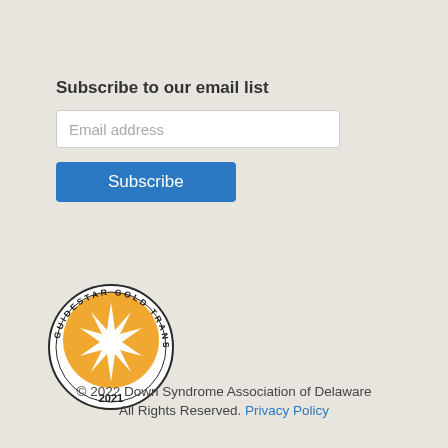Subscribe to our email list
Email address
Subscribe
[Figure (logo): GuideStar Gold Transparency 2021 seal — circular badge with orange star burst in center, dark border with text 'GUIDESTAR GOLD TRANSPARENCY' around the ring, '2021' at the bottom]
© 2022 Down Syndrome Association of Delaware All Rights Reserved. Privacy Policy